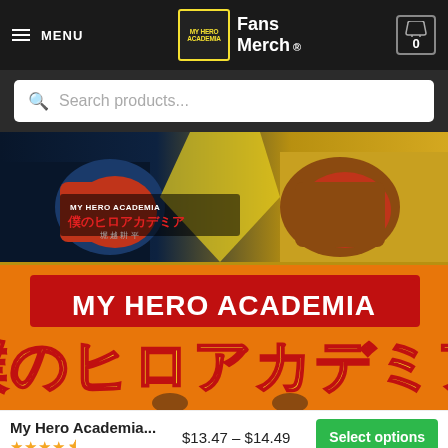MENU | My Hero Academia Fans Merch® | Cart 0
Search products...
[Figure (illustration): My Hero Academia anime merchandise banner showing characters in fighting poses with Japanese text logo]
[Figure (illustration): My Hero Academia orange background product image with large My Hero Academia logo in English and Japanese]
My Hero Academia...
$13.47 – $14.49
Select options